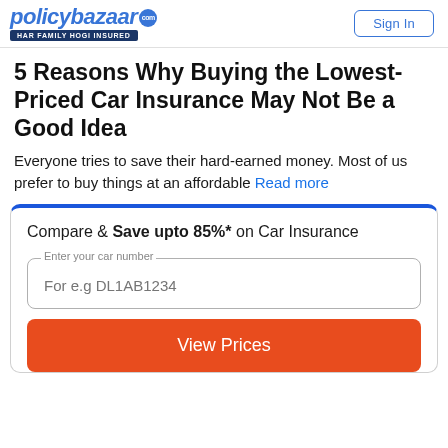policybazaar.com HAR FAMILY HOGI INSURED | Sign In
5 Reasons Why Buying the Lowest-Priced Car Insurance May Not Be a Good Idea
Everyone tries to save their hard-earned money. Most of us prefer to buy things at an affordable
Read more
Compare & Save upto 85%* on Car Insurance
Enter your car number
For e.g DL1AB1234
View Prices